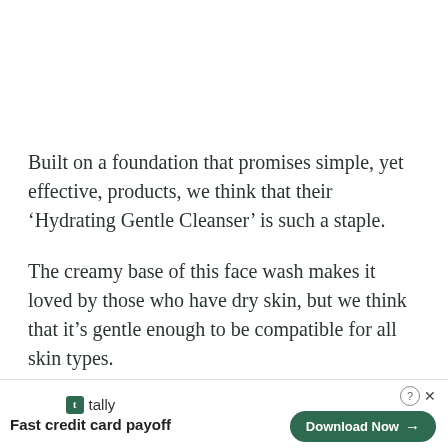Built on a foundation that promises simple, yet effective, products, we think that their ‘Hydrating Gentle Cleanser’ is such a staple.
The creamy base of this face wash makes it loved by those who have dry skin, but we think that it’s gentle enough to be compatible for all skin types.
In spite of it’s soft feel, it goes hard on bacteria, clogged pores, and other irritants that are keeping you fr[cut off by ad]
[Figure (other): Advertisement banner at the bottom: Tally app ad with logo, tagline 'Fast credit card payoff', and a green 'Download Now' button with arrow. Includes close (X) and help (?) controls.]